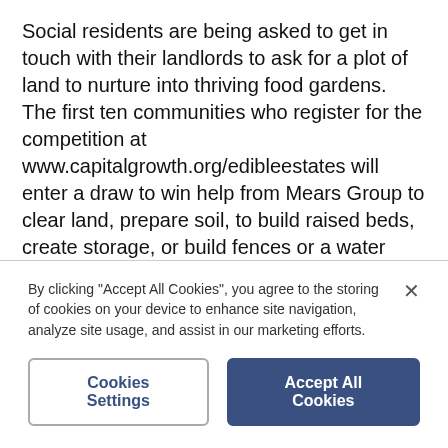Social residents are being asked to get in touch with their landlords to ask for a plot of land to nurture into thriving food gardens. The first ten communities who register for the competition at www.capitalgrowth.org/edibleestates will enter a draw to win help from Mears Group to clear land, prepare soil, to build raised beds, create storage, or build fences or a water source.
It doesn't matter if growing has not yet started because the project aims to celebrate those already growing as well as inspiring others to get started. I know that it is
By clicking "Accept All Cookies", you agree to the storing of cookies on your device to enhance site navigation, analyze site usage, and assist in our marketing efforts.